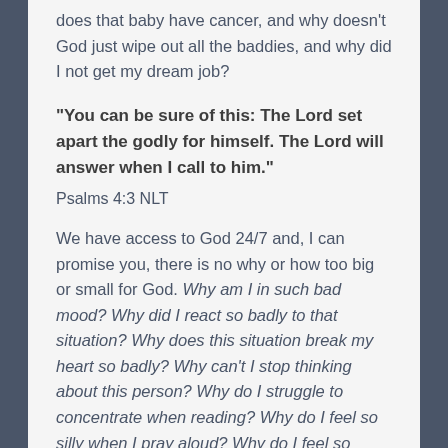does that baby have cancer, and why doesn't God just wipe out all the baddies, and why did I not get my dream job?
“You can be sure of this: The Lord set apart the godly for himself. The Lord will answer when I call to him.”
Psalms 4:3 NLT
We have access to God 24/7 and, I can promise you, there is no why or how too big or small for God. Why am I in such bad mood? Why did I react so badly to that situation? Why does this situation break my heart so badly? Why can’t I stop thinking about this person? Why do I struggle to concentrate when reading? Why do I feel so silly when I pray aloud? Why do I feel so